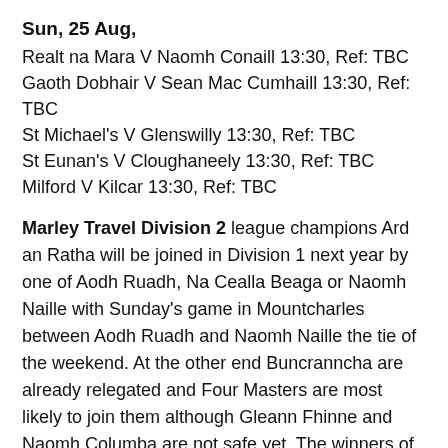Sun, 25 Aug,
Realt na Mara V Naomh Conaill 13:30, Ref: TBC
Gaoth Dobhair V Sean Mac Cumhaill 13:30, Ref: TBC
St Michael's V Glenswilly 13:30, Ref: TBC
St Eunan's V Cloughaneely 13:30, Ref: TBC
Milford V Kilcar 13:30, Ref: TBC
Marley Travel Division 2 league champions Ard an Ratha will be joined in Division 1 next year by one of Aodh Ruadh, Na Cealla Beaga or Naomh Naille with Sunday's game in Mountcharles between Aodh Ruadh and Naomh Naille the tie of the weekend. At the other end Buncranncha are already relegated and Four Masters are most likely to join them although Gleann Fhinne and Naomh Columba are not safe yet. The winners of Friday's game in Páirc Taobhoige will, however, be safe before Four